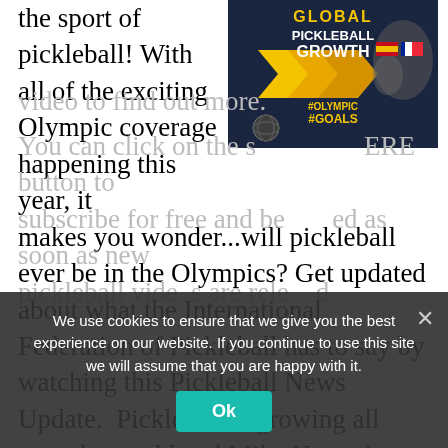the sport of pickleball! With all of the exciting Olympic coverage happening this year, it
[Figure (screenshot): Infographic thumbnail showing 'Global Pickleball Growth #Olympic Goals' with a world map and country flags]
makes you wonder...will pickleball ever be in the Olympics? Get updated about what the International Federation of Pickleball has to say by watching this Pickleball News Update.  Pickleball is growing all over the world and Mike Hess, the President of the IFP, has some exciting goals for the sport! Watch this great
video to find out more.
You can click on the s                    ERE button to subscribe for free and be             ed as soon as new pickleball vide   s are rele     d
We use cookies to ensure that we give you the best experience on our website. If you continue to use this site we will assume that you are happy with it.